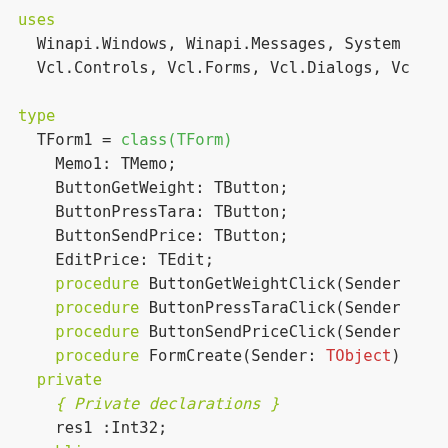Pascal/Delphi source code snippet showing uses clause and TForm1 class declaration with procedures, private and public sections.